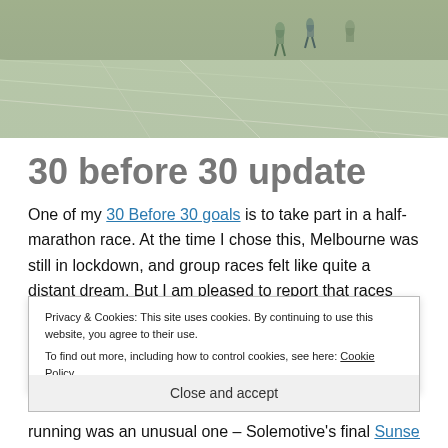[Figure (photo): Aerial/ground view of an outdoor court or paved area with people walking, showing line markings on the surface]
30 before 30 update
One of my 30 Before 30 goals is to take part in a half-marathon race. At the time I chose this, Melbourne was still in lockdown, and group races felt like quite a distant dream. But I am pleased to report that races are now going ahead, and I have even taken part in one! Albeit
Privacy & Cookies: This site uses cookies. By continuing to use this website, you agree to their use. To find out more, including how to control cookies, see here: Cookie Policy
Close and accept
running was an unusual one – Solemotive's final Sunset